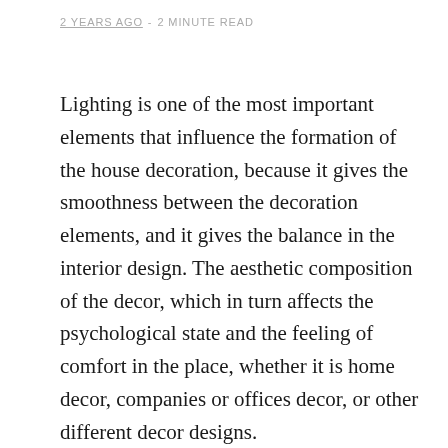2 YEARS AGO  -  2 MINUTE READ
Lighting is one of the most important elements that influence the formation of the house decoration, because it gives the smoothness between the decoration elements, and it gives the balance in the interior design. The aesthetic composition of the decor, which in turn affects the psychological state and the feeling of comfort in the place, whether it is home decor, companies or offices decor, or other different decor designs.
The lighting distribution depends on the area and needs of the place, and the decoration elements in the design, and this requires knowledge of the different types of lighting that help in choosing the appropriate for the design of the place.